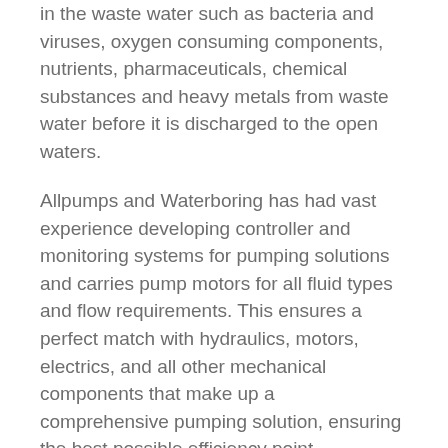in the waste water such as bacteria and viruses, oxygen consuming components, nutrients, pharmaceuticals, chemical substances and heavy metals from waste water before it is discharged to the open waters.
Allpumps and Waterboring has had vast experience developing controller and monitoring systems for pumping solutions and carries pump motors for all fluid types and flow requirements. This ensures a perfect match with hydraulics, motors, electrics, and all other mechanical components that make up a comprehensive pumping solution, ensuring the best possible efficiency point.
At Allpumps and Waterboringwe offer a wide range